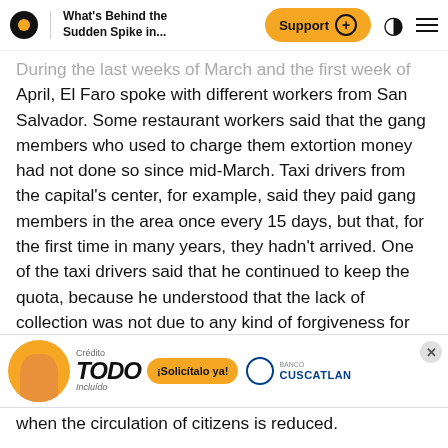What's Behind the Sudden Spike in...
During the last weeks of March and the first week of April, El Faro spoke with different workers from San Salvador. Some restaurant workers said that the gang members who used to charge them extortion money had not done so since mid-March. Taxi drivers from the capital's center, for example, said they paid gang members in the area once every 15 days, but that, for the first time in many years, they hadn't arrived. One of the taxi drivers said that he continued to keep the quota, because he understood that the lack of collection was not due to any kind of forgiveness for the emergency, but to the fact that gang members could not go to the very visible areas of the center at a time when police and military presence is heavy, and when the circulation of citizens is reduced.
The second certainty, the commissioner said, "...that during... to oversi... complaining of an increase in aggressions